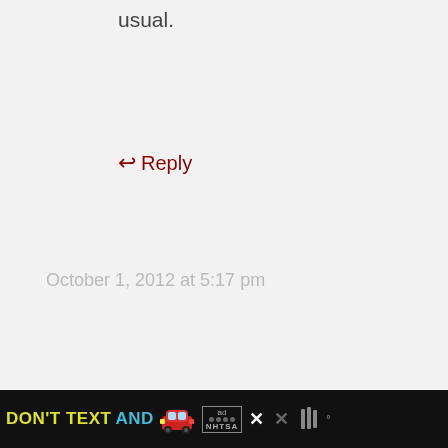usual.
↩ Reply
October 1, 2012 at 5:17 pm
[Figure (photo): Avatar photo of commenter Jessie, a young woman with dark bangs, resting her chin on her hand, wearing a yellow top]
Jessie says:
Love it. I just did some Pumpkin
[Figure (infographic): DON'T TEXT AND DRIVE advertisement banner from NHTSA with car emoji and close button]